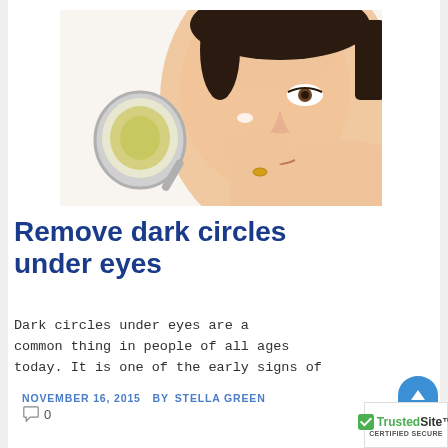[Figure (photo): A woman applying cream under her eyes while holding a small round mirror with a yellow cream product in it]
Remove dark circles under eyes
Dark circles under eyes are a common thing in people of all ages today. It is one of the early signs of
NOVEMBER 16, 2015  BY STELLA GREEN  0